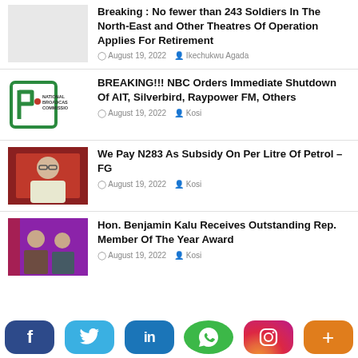[Figure (illustration): Blank/white thumbnail placeholder for first news item]
Breaking : No fewer than 243 Soldiers In The North-East and Other Theatres Of Operation Applies For Retirement
August 19, 2022  Ikechukwu Agada
[Figure (logo): National Broadcasting Commission (NBC) logo - green and red shield/lettering]
BREAKING!!! NBC Orders Immediate Shutdown Of AIT, Silverbird, Raypower FM, Others
August 19, 2022  Kosi
[Figure (photo): Photo of a man in traditional Nigerian attire with glasses, seated]
We Pay N283 As Subsidy On Per Litre Of Petrol – FG
August 19, 2022  Kosi
[Figure (photo): Photo of two men in a TV studio setting with red backdrop]
Hon. Benjamin Kalu Receives Outstanding Rep. Member Of The Year Award
August 19, 2022  Kosi